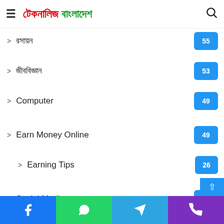টেকনালিজ বাংলাদেশ
রসায়ন  55
জীববিজ্ঞান  53
Computer  49
Earn Money Online  49
Earning Tips  26
Social Media  46
ইন্টারনেট  44
Digital Marketing  44
Life Style
Facebook | WhatsApp | Telegram | Phone